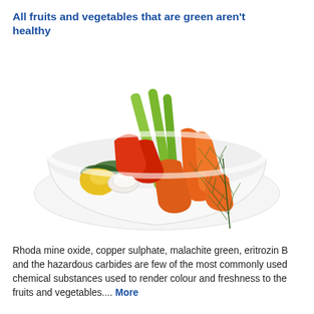All fruits and vegetables that are green aren't healthy
[Figure (photo): A white bowl containing colorful sliced vegetables including carrots, celery sticks, cucumber, yellow pepper, and fresh dill/rosemary herbs arranged decoratively]
Rhoda mine oxide, copper sulphate, malachite green, eritrozin B and the hazardous carbides are few of the most commonly used chemical substances used to render colour and freshness to the fruits and vegetables.... More